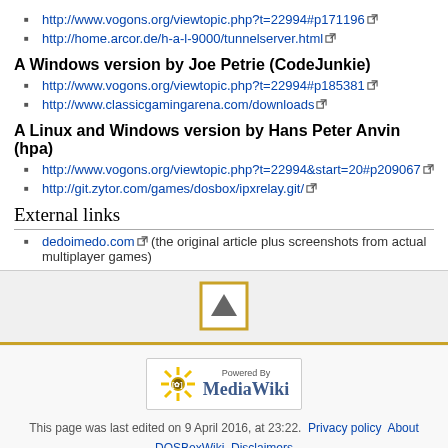http://www.vogons.org/viewtopic.php?t=22994#p171196
http://home.arcor.de/h-a-l-9000/tunnelserver.html
A Windows version by Joe Petrie (CodeJunkie)
http://www.vogons.org/viewtopic.php?t=22994#p185381
http://www.classicgamingarena.com/downloads
A Linux and Windows version by Hans Peter Anvin (hpa)
http://www.vogons.org/viewtopic.php?t=22994&start=20#p209067
http://git.zytor.com/games/dosbox/ipxrelay.git/
External links
dedoimedo.com (the original article plus screenshots from actual multiplayer games)
[Figure (other): Scroll to top button - square with orange border containing upward triangle]
[Figure (logo): Powered by MediaWiki badge with sunflower logo]
This page was last edited on 9 April 2016, at 23:22. Privacy policy About DOSBoxWiki Disclaimers